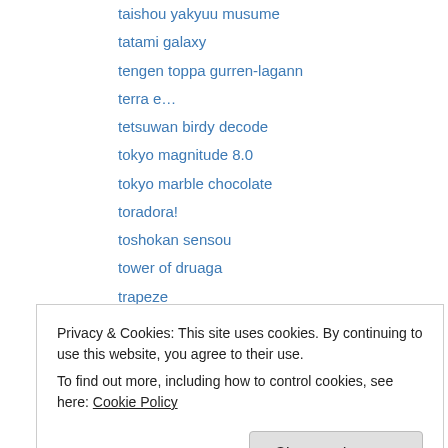taishou yakyuu musume
tatami galaxy
tengen toppa gurren-lagann
terra e…
tetsuwan birdy decode
tokyo magnitude 8.0
tokyo marble chocolate
toradora!
toshokan sensou
tower of druaga
trapeze
true tears
tytania
Privacy & Cookies: This site uses cookies. By continuing to use this website, you agree to their use.
To find out more, including how to control cookies, see here: Cookie Policy
Close and accept
anime season preview